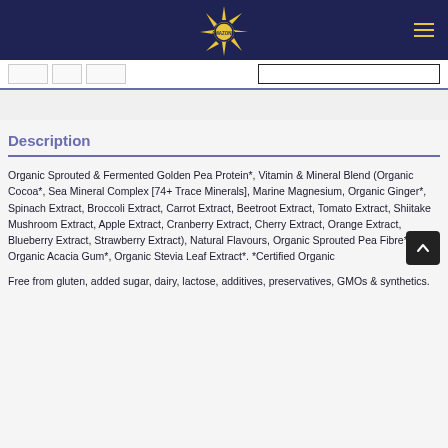AMAZONIA
Description
Organic Sprouted & Fermented Golden Pea Protein*, Vitamin & Mineral Blend (Organic Cocoa*, Sea Mineral Complex [74+ Trace Minerals], Marine Magnesium, Organic Ginger*, Spinach Extract, Broccoli Extract, Carrot Extract, Beetroot Extract, Tomato Extract, Shiitake Mushroom Extract, Apple Extract, Cranberry Extract, Cherry Extract, Orange Extract, Blueberry Extract, Strawberry Extract), Natural Flavours, Organic Sprouted Pea Fibre*, Organic Acacia Gum*, Organic Stevia Leaf Extract*. *Certified Organic
Free from gluten, added sugar, dairy, lactose, additives, preservatives, GMOs & synthetics.